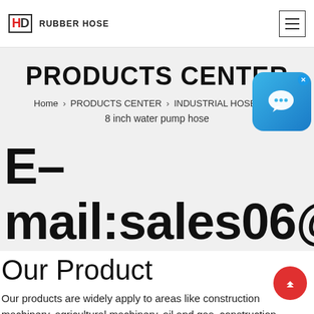HD RUBBER HOSE
PRODUCTS CENTER
Home > PRODUCTS CENTER > INDUSTRIAL HOSE > nyl 8 inch water pump hose
E-mail:sales06@lethose.co
[Figure (illustration): Chat bubble icon with X close button]
Our Product
Our products are widely apply to areas like construction machinery, agricultural machinery, oil and gas, construction,